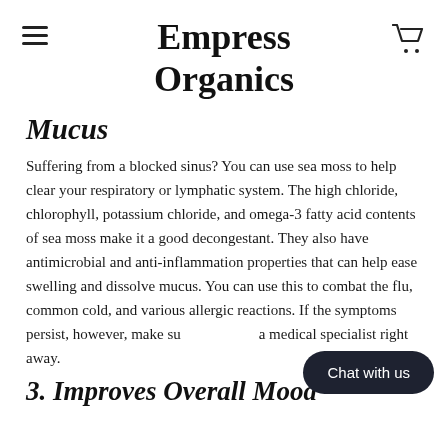Empress Organics
Mucus
Suffering from a blocked sinus? You can use sea moss to help clear your respiratory or lymphatic system. The high chloride, chlorophyll, potassium chloride, and omega-3 fatty acid contents of sea moss make it a good decongestant. They also have antimicrobial and anti-inflammation properties that can help ease swelling and dissolve mucus. You can use this to combat the flu, common cold, and various allergic reactions. If the symptoms persist, however, make sure to consult a medical specialist right away.
3. Improves Overall Mood